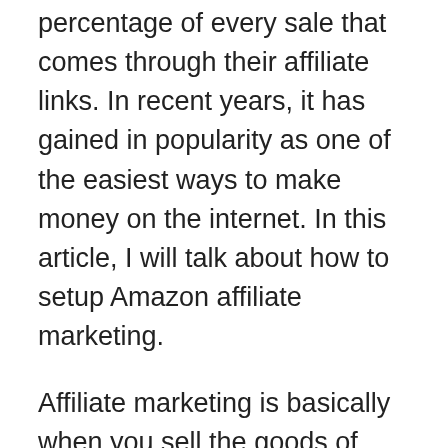percentage of every sale that comes through their affiliate links. In recent years, it has gained in popularity as one of the easiest ways to make money on the internet. In this article, I will talk about how to setup Amazon affiliate marketing.
Affiliate marketing is basically when you sell the goods of other businesses through your own affiliate link. When a visitor to your affiliate link purchases through your affiliate offer, you earn a commission from the sale. As an affiliate marketer, generally you can promote products from several different